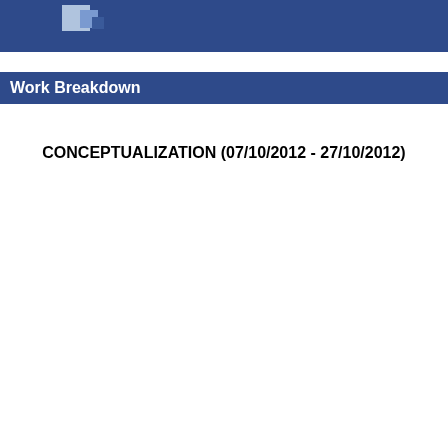Work Breakdown
Work Breakdown
CONCEPTUALIZATION (07/10/2012 - 27/10/2012)